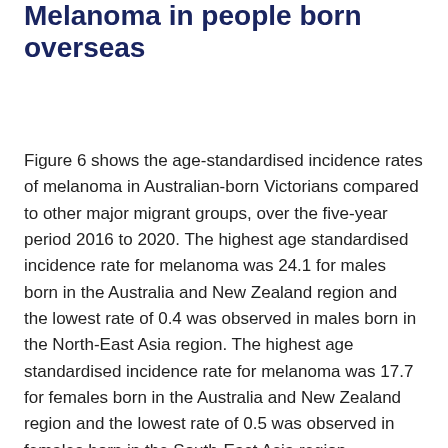Melanoma in people born overseas
Figure 6 shows the age-standardised incidence rates of melanoma in Australian-born Victorians compared to other major migrant groups, over the five-year period 2016 to 2020. The highest age standardised incidence rate for melanoma was 24.1 for males born in the Australia and New Zealand region and the lowest rate of 0.4 was observed in males born in the North-East Asia region. The highest age standardised incidence rate for melanoma was 17.7 for females born in the Australia and New Zealand region and the lowest rate of 0.5 was observed in females born in the South-East Asia region.